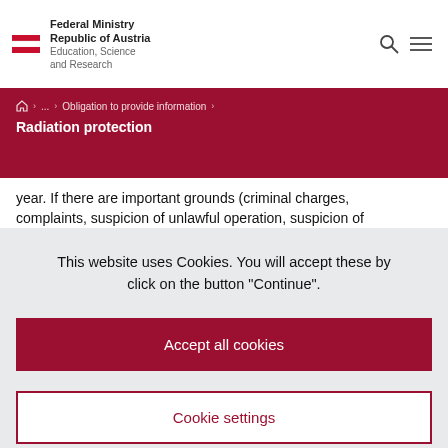[Figure (logo): Austrian Federal Ministry logo with red-white-red flag stripes and ministry name text]
Federal Ministry Republic of Austria Education, Science and Research
Home > ... > Obligation to provide information > Radiation protection
Radiation protection
year. If there are important grounds (criminal charges, complaints, suspicion of unlawful operation, suspicion of
This website uses Cookies. You will accept these by click on the button "Continue".
Accept all cookies
Cookie settings